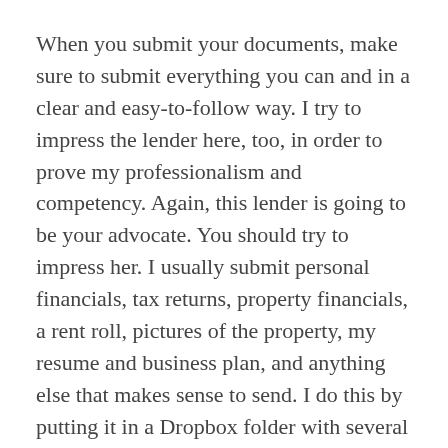When you submit your documents, make sure to submit everything you can and in a clear and easy-to-follow way. I try to impress the lender here, too, in order to prove my professionalism and competency. Again, this lender is going to be your advocate. You should try to impress her. I usually submit personal financials, tax returns, property financials, a rent roll, pictures of the property, my resume and business plan, and anything else that makes sense to send. I do this by putting it in a Dropbox folder with several sub folders.
You may want to do this with several banks in case one of them says no — and also to jockey for the best terms. Remember, you can say no to banks, too.